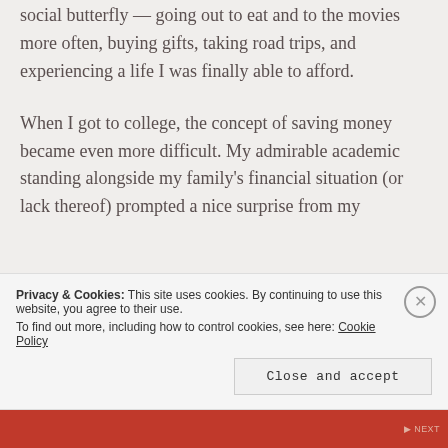social butterfly — going out to eat and to the movies more often, buying gifts, taking road trips, and experiencing a life I was finally able to afford.
When I got to college, the concept of saving money became even more difficult. My admirable academic standing alongside my family's financial situation (or lack thereof) prompted a nice surprise from my
Privacy & Cookies: This site uses cookies. By continuing to use this website, you agree to their use.
To find out more, including how to control cookies, see here: Cookie Policy